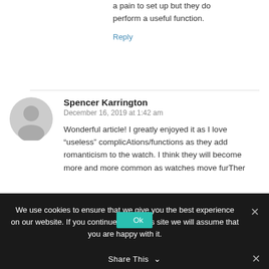a pain to set up but they do perform a useful function.
Reply
Spencer Karrington
December 16, 2019 at 1:42 am
Wonderful article! I greatly enjoyed it as I love “useless” complicAtions/functions as they add romanticism to the watch. I think they will become more and more common as watches move furTher
We use cookies to ensure that we give you the best experience on our website. If you continue to use this site we will assume that you are happy with it.
Ok
Share This